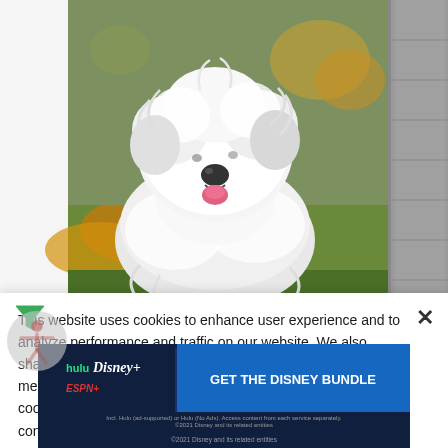[Figure (photo): A fluffy white Old English Sheepdog photographed outdoors with autumn leaves and a stone pillar in the background]
Flea & Tick Prevention for Old English Sheepdogs:
This website uses cookies to enhance user experience and to analyze performance and traffic on our website. We also share information about your use of our site with our social media, advertising and analytics partners. By accepting cookies, you are also agreeing to accept our site terms and conditions. Terms & Conditions
[Figure (infographic): Hulu Disney+ ESPN+ GET THE DISNEY BUNDLE advertisement banner. Incl. Hulu (ad-supported) or Hulu (No Ads). Access content from each service separately. ©2021 Disney and its related entities]